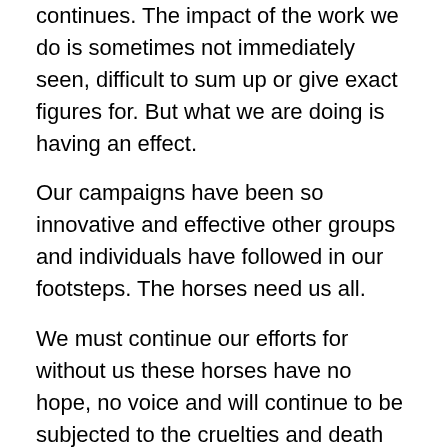continues. The impact of the work we do is sometimes not immediately seen, difficult to sum up or give exact figures for. But what we are doing is having an effect.
Our campaigns have been so innovative and effective other groups and individuals have followed in our footsteps. The horses need us all.
We must continue our efforts for without us these horses have no hope, no voice and will continue to be subjected to the cruelties and death associated with the making of the Premarin family of drugs.
QUOTE
“Nothing has been, or ever will be, appealing or beneficial about the PMU industry and the Premarin family of drugs; they are clearly harbingers of death from both sides of the